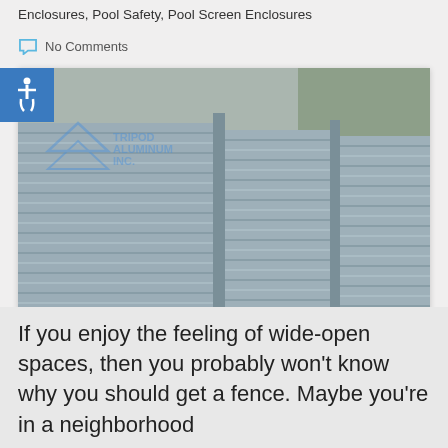Enclosures, Pool Safety, Pool Screen Enclosures
No Comments
[Figure (photo): Horizontal aluminum louvered fence panels in grey, installed along a grassy area with trees in background. Tripod Aluminum Inc. logo watermarked over image.]
If you enjoy the feeling of wide-open spaces, then you probably won't know why you should get a fence. Maybe you're in a neighborhood